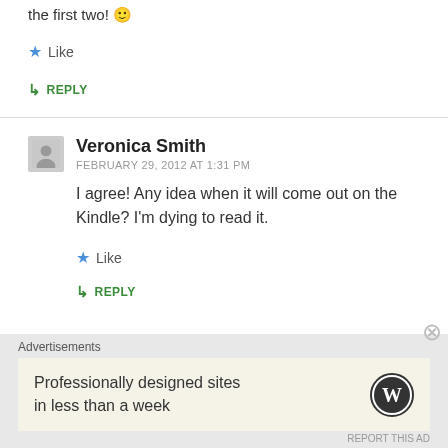the first two! 🙂
Like
↳ REPLY
Veronica Smith
FEBRUARY 29, 2012 AT 1:31 PM
I agree! Any idea when it will come out on the Kindle? I'm dying to read it.
Like
↳ REPLY
Advertisements
Professionally designed sites in less than a week